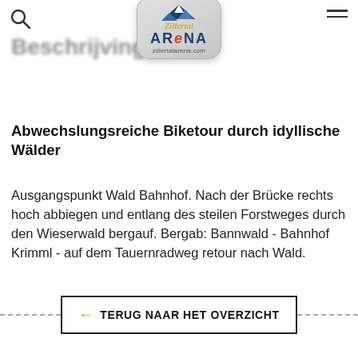Zillertal Arena – zillertalarena.com
Abwechslungsreiche Biketour durch idyllische Wälder
Ausgangspunkt Wald Bahnhof. Nach der Brücke rechts hoch abbiegen und entlang des steilen Forstweges durch den Wieserwald bergauf. Bergab: Bannwald - Bahnhof Krimml - auf dem Tauernradweg retour nach Wald.
← TERUG NAAR HET OVERZICHT